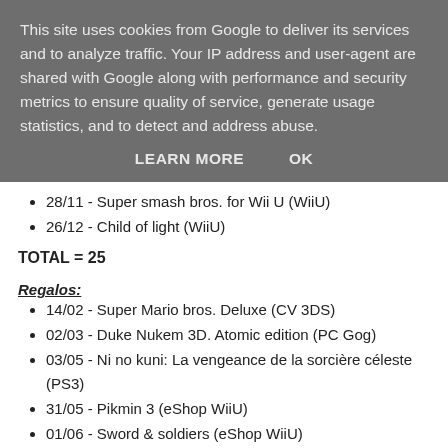This site uses cookies from Google to deliver its services and to analyze traffic. Your IP address and user-agent are shared with Google along with performance and security metrics to ensure quality of service, generate usage statistics, and to detect and address abuse.
LEARN MORE   OK
28/11 - Super smash bros. for Wii U (WiiU)
26/12 - Child of light (WiiU)
TOTAL = 25
Regalos:
14/02 - Super Mario bros. Deluxe (CV 3DS)
02/03 - Duke Nukem 3D. Atomic edition (PC Gog)
03/05 - Ni no kuni: La vengeance de la sorcière céleste (PS3)
31/05 - Pikmin 3 (eShop WiiU)
01/06 - Sword & soldiers (eShop WiiU)